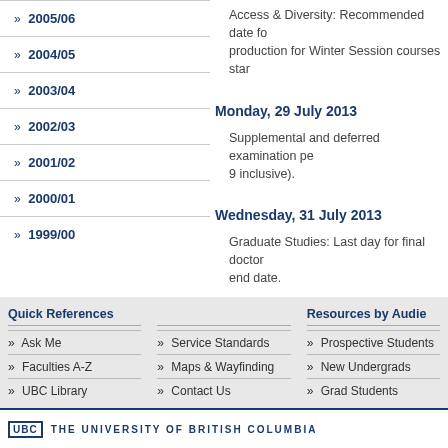» 2005/06
» 2004/05
» 2003/04
» 2002/03
» 2001/02
» 2000/01
» 1999/00
Access & Diversity: Recommended date for production for Winter Session courses sta...
Monday, 29 July 2013
Supplemental and deferred examination pe... 9 inclusive).
Wednesday, 31 July 2013
Graduate Studies: Last day for final doctor... end date.
Quick References
» Ask Me
» Faculties A-Z
» UBC Library
» Service Standards
» Maps & Wayfinding
» Contact Us
Resources by Audie...
» Prospective Students
» New Undergrads
» Grad Students
UBC THE UNIVERSITY OF BRITISH COLUMBIA